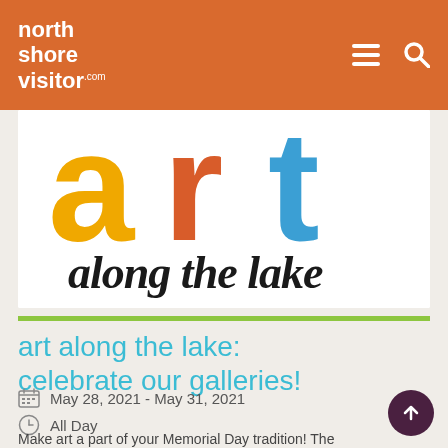north shore visitor .com
[Figure (logo): Art Along the Lake event logo with colorful large letters 'art' and handwritten 'along the lake' text]
art along the lake: celebrate our galleries!
May 28, 2021 - May 31, 2021
All Day
Make art a part of your Memorial Day tradition! The communities of Grand Marais, the Gunflint Trail...